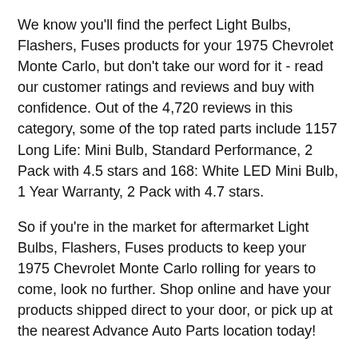We know you'll find the perfect Light Bulbs, Flashers, Fuses products for your 1975 Chevrolet Monte Carlo, but don't take our word for it - read our customer ratings and reviews and buy with confidence. Out of the 4,720 reviews in this category, some of the top rated parts include 1157 Long Life: Mini Bulb, Standard Performance, 2 Pack with 4.5 stars and 168: White LED Mini Bulb, 1 Year Warranty, 2 Pack with 4.7 stars.
So if you're in the market for aftermarket Light Bulbs, Flashers, Fuses products to keep your 1975 Chevrolet Monte Carlo rolling for years to come, look no further. Shop online and have your products shipped direct to your door, or pick up at the nearest Advance Auto Parts location today!
Light Bulbs, Flashers, Fuses Brands To Make Your 1975 Chevrolet Monte Carlo Last
Simple repair, complete replacement, or a full rebuild. No matter the job, your 1975 Chevrolet Monte Carlo demands trusted brand parts and products to keep it running. 9 trusted brands of Light Bulbs, Flashers, Fuses products are part of Advance Auto